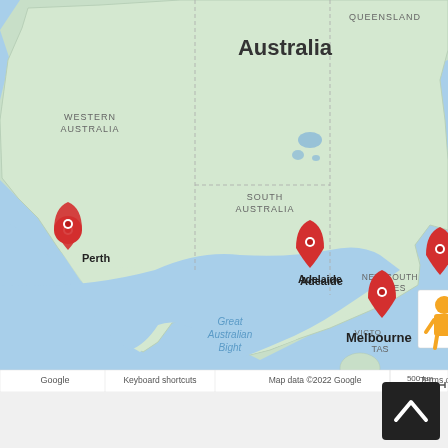[Figure (map): Google Maps screenshot showing southern Australia with red location markers on Perth, Adelaide, Melbourne, and near New South Wales. Labels include WESTERN AUSTRALIA, QUEENSLAND, SOUTH AUSTRALIA, NEW SOUTH WALES, VICTORIA, TAS (Tasmania), Great Australian Bight, and Australia. A Street View person icon and zoom +/- controls are visible. Map footer shows Google logo, keyboard shortcuts, map data copyright 2022 Google, 500 km scale bar, and Terms of Use.]